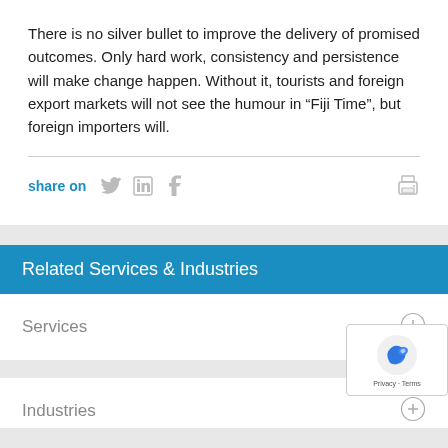There is no silver bullet to improve the delivery of promised outcomes. Only hard work, consistency and persistence will make change happen. Without it, tourists and foreign export markets will not see the humour in “Fiji Time”, but foreign importers will.
share on
Related Services & Industries
Services
Industries